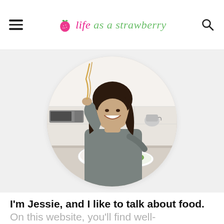life as a strawberry
[Figure (photo): A woman with dark hair and bangs laughing in a kitchen, holding up a strand of pasta in one hand and using tongs in a bowl of food with the other hand, with salad and other dishes visible on the counter. The photo is cropped in a circle shape.]
I'm Jessie, and I like to talk about food. On this website, you'll find well-